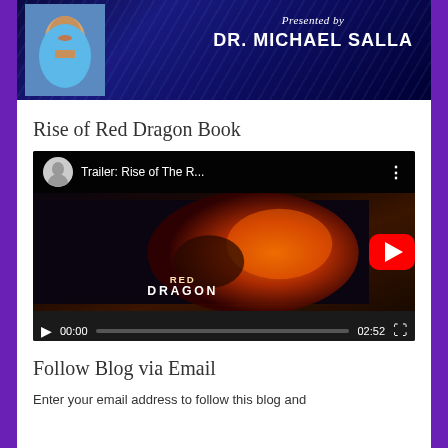[Figure (photo): Promotional image of Dr. Michael Salla with blue starfield background. Text overlaid: 'Presented by DR. MICHAEL SALLA']
Rise of Red Dragon Book
[Figure (screenshot): YouTube video embed showing 'Trailer: Rise of The R...' with YouTube play button, video thumbnail showing a dragon with fire, and video controls showing 00:00 / 02:52]
Follow Blog via Email
Enter your email address to follow this blog and